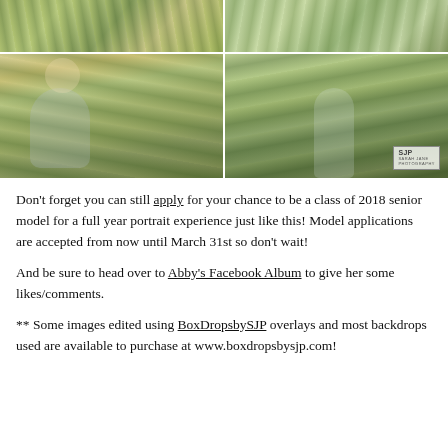[Figure (photo): Collage of outdoor photography session photos showing two young women in fields of tall grass. Top row has two images side by side. Bottom row has a larger image on the left of a blonde woman in a hat sitting in grass, and on the right a woman in light clothing walking in grass. SJP Sarah Jane Photography logo in bottom right.]
Don't forget you can still apply for your chance to be a class of 2018 senior model for a full year portrait experience just like this! Model applications are accepted from now until March 31st so don't wait!
And be sure to head over to Abby's Facebook Album to give her some likes/comments.
** Some images edited using BoxDropsbySJP overlays and most backdrops used are available to purchase at www.boxdropsbysjp.com!